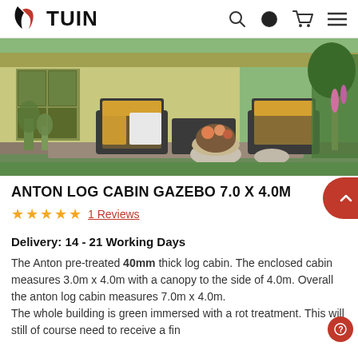TUIN
[Figure (photo): Anton Log Cabin Gazebo product photo showing a green pre-treated log cabin with an open canopy area furnished with dark rattan sofas with yellow cushions, potted plants, and garden surroundings.]
ANTON LOG CABIN GAZEBO 7.0 X 4.0M
★★★★★  1 Reviews
Delivery: 14 - 21 Working Days
The Anton pre-treated 40mm thick log cabin. The enclosed cabin measures 3.0m x 4.0m with a canopy to the side of 4.0m. Overall the anton log cabin measures 7.0m x 4.0m.
The whole building is green immersed with a rot treatment. This will still of course need to receive a final